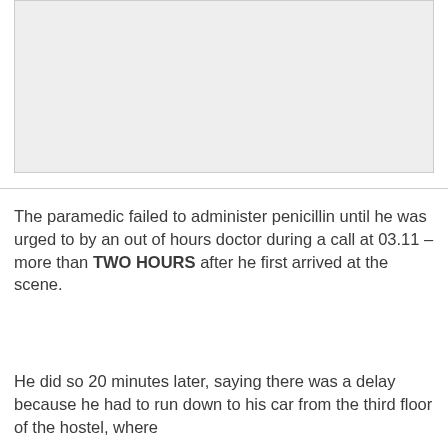[Figure (other): Gray placeholder image area at top of page]
The paramedic failed to administer penicillin until he was urged to by an out of hours doctor during a call at 03.11 – more than TWO HOURS after he first arrived at the scene.
He did so 20 minutes later, saying there was a delay because he had to run down to his car from the third floor of the hostel, where